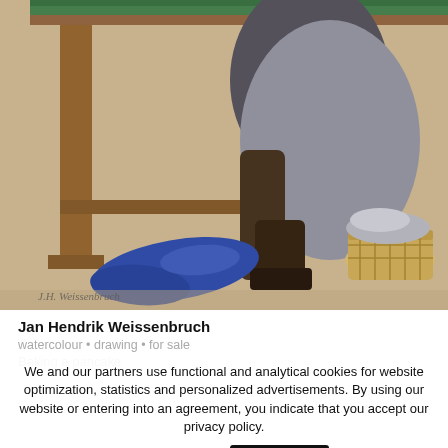[Figure (illustration): A cropped watercolour painting showing the lower portion of a scene. A wooden table with brown legs is visible in the upper portion. A person's legs wearing dark boots are visible behind the table. On the right side is a wicker basket with fabric/cloth inside. On the floor in the lower left is a blue cloth or garment. The floor appears sandy/ochre coloured. Artist signature is visible at the lower left. The top edge shows green fabric (table cover).]
Jan Hendrik Weissenbruch
watercolour • drawing • for sale
Baking a pancake
We and our partners use functional and analytical cookies for website optimization, statistics and personalized advertisements. By using our website or entering into an agreement, you indicate that you accept our privacy policy.
Read more
I accept